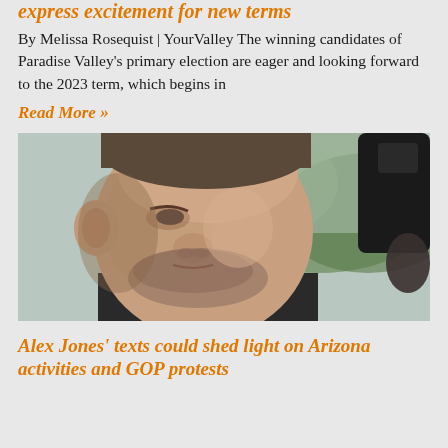express excitement for new terms
By Melissa Rosequist | YourValley The winning candidates of Paradise Valley's primary election are eager and looking forward to the 2023 term, which begins in
Read More »
[Figure (photo): Close-up photo of a middle-aged man with short hair and stubble beard, looking to the side outdoors]
Alex Jones' texts could shed light on Arizona activities and GOP protests